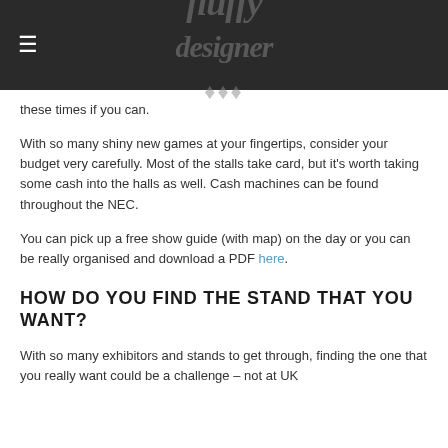≡  [logo]
these times if you can.
With so many shiny new games at your fingertips, consider your budget very carefully. Most of the stalls take card, but it's worth taking some cash into the halls as well. Cash machines can be found throughout the NEC.
You can pick up a free show guide (with map) on the day or you can be really organised and download a PDF here.
HOW DO YOU FIND THE STAND THAT YOU WANT?
With so many exhibitors and stands to get through, finding the one that you really want could be a challenge – not at UK